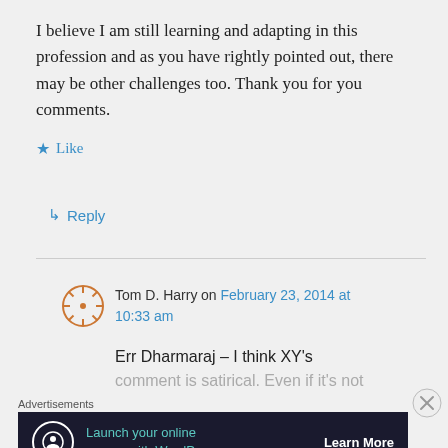I believe I am still learning and adapting in this profession and as you have rightly pointed out, there may be other challenges too. Thank you for you comments.
★ Like
↳ Reply
Tom D. Harry on February 23, 2014 at 10:33 am
Err Dharmaraj – I think XY's comment is satirical. Even if it's not
Advertisements
Launch your online course with WordPress  Learn More